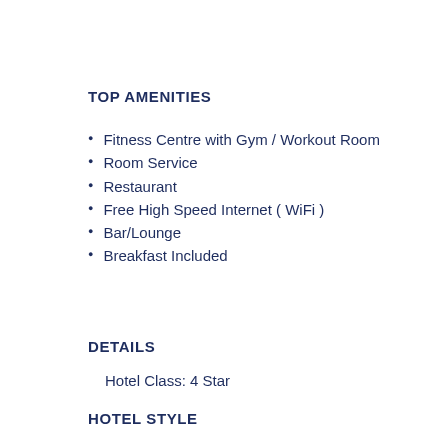TOP AMENITIES
Fitness Centre with Gym / Workout Room
Room Service
Restaurant
Free High Speed Internet ( WiFi )
Bar/Lounge
Breakfast Included
DETAILS
Hotel Class: 4 Star
HOTEL STYLE